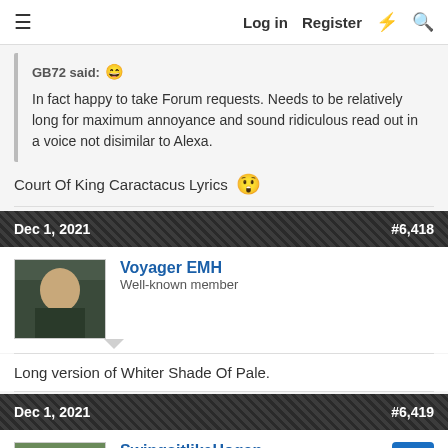Log in  Register
GB72 said: In fact happy to take Forum requests. Needs to be relatively long for maximum annoyance and sound ridiculous read out in a voice not disimilar to Alexa.
Court Of King Caractacus Lyrics 😱
Dec 1, 2021  #6,418
Voyager EMH
Well-known member
Long version of Whiter Shade Of Pale.
Dec 1, 2021  #6,419
SwingsitlikeHogan
Major Champion